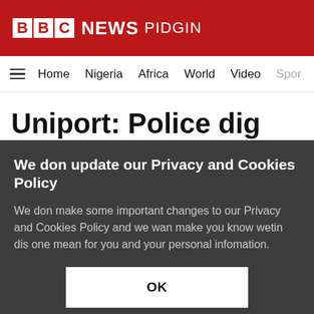BBC NEWS PIDGIN
Home   Nigeria   Africa   World   Video   Spor
Uniport: Police dig out
We don update our Privacy and Cookies Policy
We don make some important changes to our Privacy and Cookies Policy and we wan make you know wetin dis one mean for you and your personal infomation.
OK
Find out wetin don change